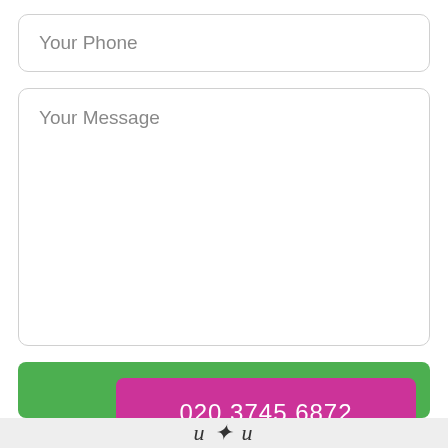Your Phone
Your Message
SEND
020 3745 6872